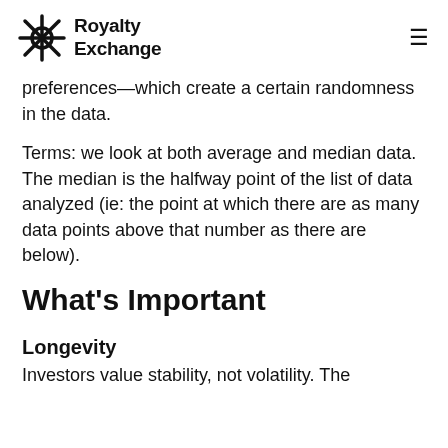Royalty Exchange
preferences—which create a certain randomness in the data.
Terms: we look at both average and median data. The median is the halfway point of the list of data analyzed (ie: the point at which there are as many data points above that number as there are below).
What's Important
Longevity
Investors value stability, not volatility. The